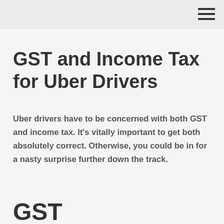GST and Income Tax for Uber Drivers
Uber drivers have to be concerned with both GST and income tax. It's vitally important to get both absolutely correct. Otherwise, you could be in for a nasty surprise further down the track.
GST